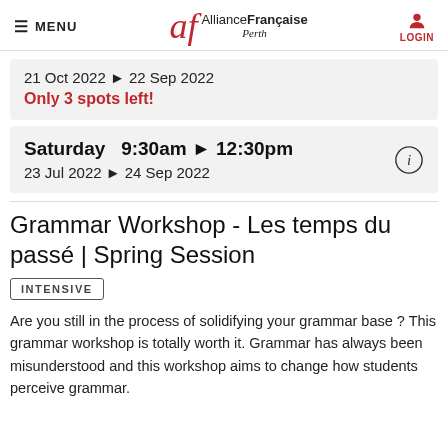MENU | Alliance Française Perth | LOGIN
21 Oct 2022 ▶ 22 Sep 2022
Only 3 spots left!
Saturday  9:30am ▶ 12:30pm
23 Jul 2022 ▶ 24 Sep 2022
Grammar Workshop - Les temps du passé | Spring Session
INTENSIVE
Are you still in the process of solidifying your grammar base ? This grammar workshop is totally worth it. Grammar has always been misunderstood and this workshop aims to change how students perceive grammar.